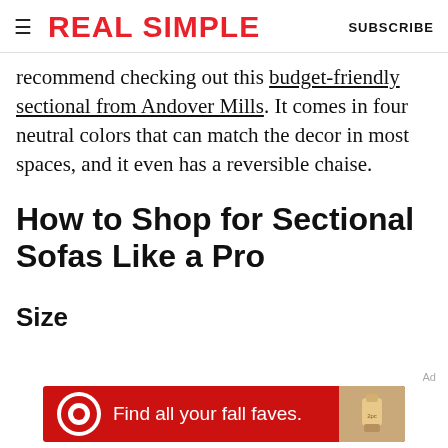REAL SIMPLE   SUBSCRIBE
recommend checking out this budget-friendly sectional from Andover Mills. It comes in four neutral colors that can match the decor in most spaces, and it even has a reversible chaise.
How to Shop for Sectional Sofas Like a Pro
Size
[Figure (other): Target advertisement banner: red background with Target bullseye logo, text 'Find all your fall faves.' and product image on the right]